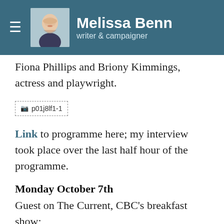Melissa Benn — writer & campaigner
Fiona Phillips and Briony Kimmings, actress and playwright.
[Figure (photo): Broken image placeholder showing 'p01j8lf1-1']
Link to programme here; my interview took place over the last half hour of the programme.
Monday October 7th
Guest on The Current, CBC's breakfast show; discussion with...